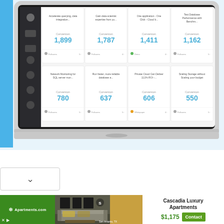[Figure (screenshot): Laptop computer displaying a dashboard/analytics interface with multiple metric cards showing numbers: 1,899; 1,787; 1,411; 1,162; 780; 637; 606; 550. Each card has a short description text and a 'Conversion' label with follow-up metrics. The laptop has a dark navigation sidebar on the left.]
[Figure (screenshot): Advertisement banner for Cascadia Luxury Apartments via Apartments.com showing price $1,175 and a Contact button, with a photo of an apartment interior labeled San Antonio, TX.]